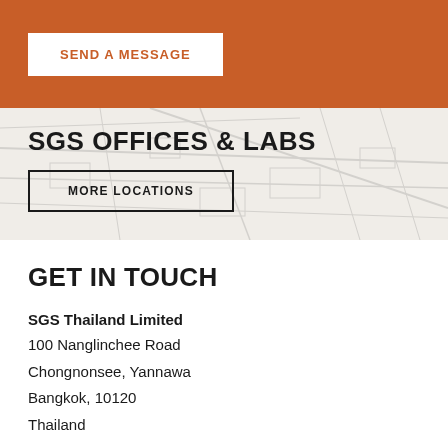SEND A MESSAGE
SGS OFFICES & LABS
MORE LOCATIONS
GET IN TOUCH
SGS Thailand Limited
100 Nanglinchee Road
Chongnonsee, Yannawa
Bangkok, 10120
Thailand
T  +66 (0) 2 678 1813